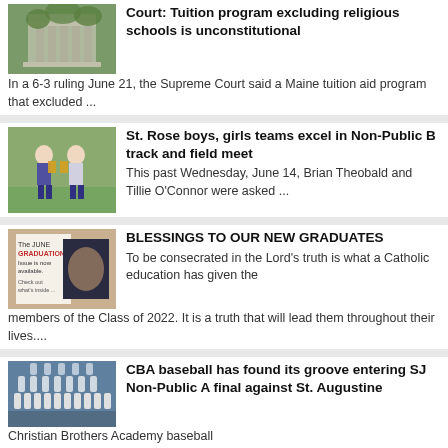[Figure (photo): Photo of a building with columns and green foliage]
Court: Tuition program excluding religious schools is unconstitutional
In a 6-3 ruling June 21, the Supreme Court said a Maine tuition aid program that excluded ...
[Figure (photo): Photo of two young women holding trophies at a track and field event]
St. Rose boys, girls teams excel in Non-Public B track and field meet
This past Wednesday, June 14, Brian Theobald and Tillie O'Connor were asked ...
[Figure (photo): Image of a June Graduation issue magazine/newsletter]
BLESSINGS TO OUR NEW GRADUATES
To be consecrated in the Lord's truth is what a Catholic education has given the members of the Class of 2022. It is a truth that will lead them throughout their lives....
[Figure (photo): Photo of a baseball team posed in rows outdoors]
CBA baseball has found its groove entering SJ Non-Public A final against St. Augustine
Christian Brothers Academy baseball